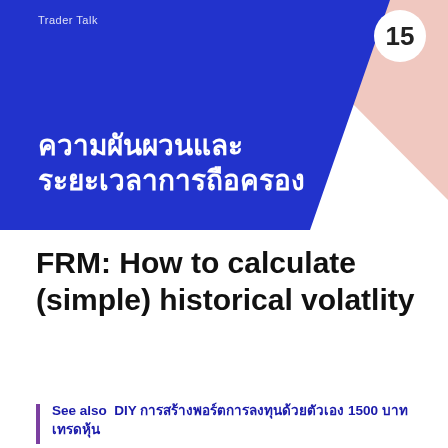Trader Talk
[Figure (illustration): Blue geometric diamond/chevron shape with pink triangle in upper right corner forming a decorative header banner. White circle with number 15 in upper right.]
ความผันผวนและระยะเวลาการถือครอง
FRM: How to calculate (simple) historical volatlity
See also  DIY การสร้างพอร์ตการลงทุนด้วยตัวเอง 1500 บาท เทรดหุ้น